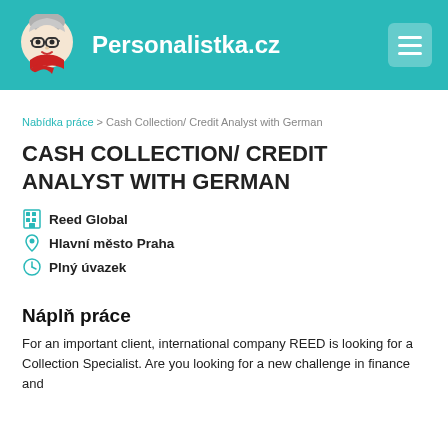Personalistka.cz
Nabídka práce > Cash Collection/ Credit Analyst with German
CASH COLLECTION/ CREDIT ANALYST WITH GERMAN
Reed Global
Hlavní město Praha
Plný úvazek
Náplň práce
For an important client, international company REED is looking for a Collection Specialist. Are you looking for a new challenge in finance and